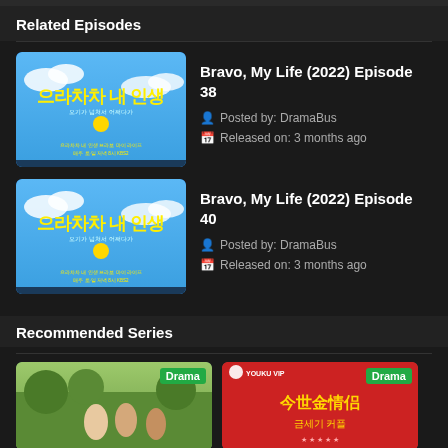Related Episodes
[Figure (photo): Thumbnail for Bravo My Life 2022 Korean drama - blue sky with yellow Korean text]
Bravo, My Life (2022) Episode 38
Posted by: DramaBus
Released on: 3 months ago
[Figure (photo): Thumbnail for Bravo My Life 2022 Korean drama - blue sky with yellow Korean text]
Bravo, My Life (2022) Episode 40
Posted by: DramaBus
Released on: 3 months ago
Recommended Series
[Figure (photo): Drama thumbnail - outdoor scene with people, Drama badge]
[Figure (photo): Drama thumbnail - red background with Chinese/Korean text, Youku VIP logo, Drama badge]